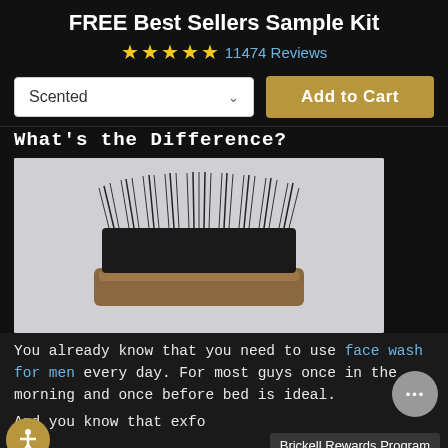FREE Best Sellers Sample Kit
★★★★★ 11474 Reviews
Scented
Add to Cart
What's the Difference?
[Figure (photo): A beard brush with black bristles and a wooden base, photographed on a light gray background]
You already know that you need to use face wash for men every day. For most guys once in the morning and once before bed is ideal.
And you know that exfo
Brickell Rewards Program